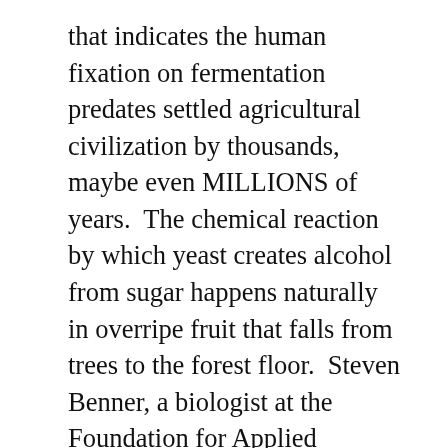that indicates the human fixation on fermentation predates settled agricultural civilization by thousands, maybe even MILLIONS of years. The chemical reaction by which yeast creates alcohol from sugar happens naturally in overripe fruit that falls from trees to the forest floor. Steven Benner, a biologist at the Foundation for Applied Molecular Evolution in Alachua, Florida, helped discover a genetic mutation that occurred about 10 million years ago in the last shared ancestor between humans and apes. This mutation produced an enzyme that allowed our distant forbears to digest alcohol 40 times faster than any other animal. It is the reason that only humans and great apes experience